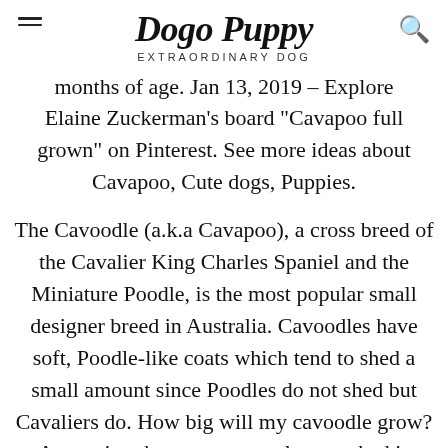Dogo Puppy — EXTRAORDINARY DOG
months of age. Jan 13, 2019 – Explore Elaine Zuckerman's board "Cavapoo full grown" on Pinterest. See more ideas about Cavapoo, Cute dogs, Puppies.
The Cavoodle (a.k.a Cavapoo), a cross breed of the Cavalier King Charles Spaniel and the Miniature Poodle, is the most popular small designer breed in Australia. Cavoodles have soft, Poodle-like coats which tend to shed a small amount since Poodles do not shed but Cavaliers do. How big will my cavoodle grow? A question that we commonly get asked is 'How big will my cavoodle get?' or 'I only